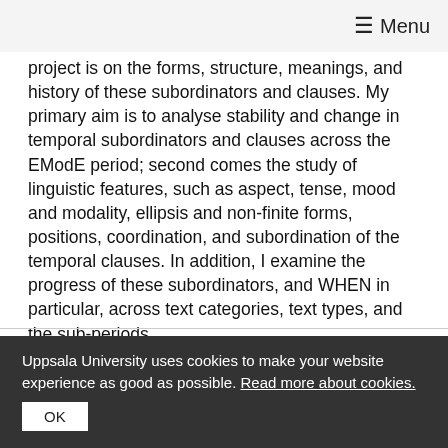☰ Menu
project is on the forms, structure, meanings, and history of these subordinators and clauses. My primary aim is to analyse stability and change in temporal subordinators and clauses across the EModE period; second comes the study of linguistic features, such as aspect, tense, mood and modality, ellipsis and non-finite forms, positions, coordination, and subordination of the temporal clauses. In addition, I examine the progress of these subordinators, and WHEN in particular, across text categories, text types, and the sub-periods.
Go to RSS feed
Uppsala University uses cookies to make your website experience as good as possible. Read more about cookies.